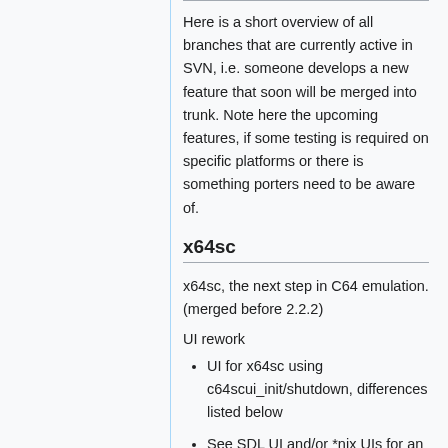Here is a short overview of all branches that are currently active in SVN, i.e. someone develops a new feature that soon will be merged into trunk. Note here the upcoming features, if some testing is required on specific platforms or there is something porters need to be aware of.
x64sc
x64sc, the next step in C64 emulation. (merged before 2.2.2)
UI rework
UI for x64sc using c64scui_init/shutdown, differences listed below
See SDL UI and/or *nix UIs for an example and suggested menu item naming